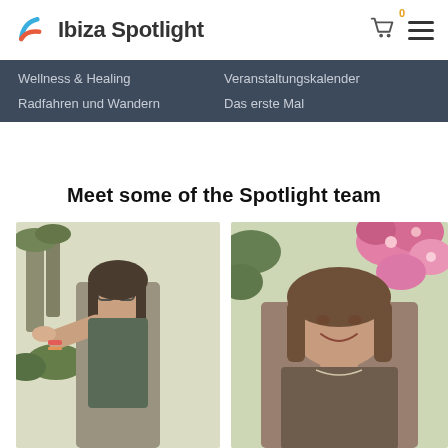Ibiza Spotlight
Wellness & Healing   Veranstaltungskalender   Radfahren und Wandern   Das erste Mal
Meet some of the Spotlight team
[Figure (photo): Young woman with glasses pointing her finger at the camera, standing outdoors with palm trees and green bushes in the background]
[Figure (photo): Middle-aged woman smiling at the camera, surrounded by pink flowers and greenery, wearing a dark top]